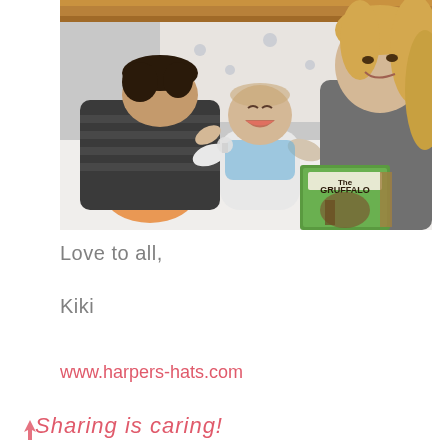[Figure (photo): A mother with blonde wavy hair smiles over a laughing baby in a blue outfit, while an older boy bends down playing with the baby. A copy of 'The Gruffalo' book is visible. They are on a bed with white pillows and a wooden headboard.]
Love to all,
Kiki
www.harpers-hats.com
Sharing is caring!